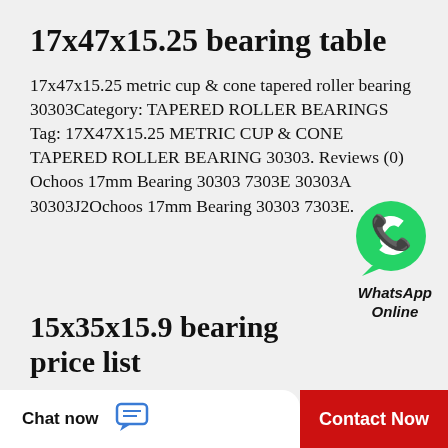17x47x15.25 bearing table
17x47x15.25 metric cup & cone tapered roller bearing 30303Category: TAPERED ROLLER BEARINGS Tag: 17X47X15.25 METRIC CUP & CONE TAPERED ROLLER BEARING 30303. Reviews (0) Ochoos 17mm Bearing 30303 7303E 30303A 30303J2Ochoos 17mm Bearing 30303 7303E.
[Figure (logo): WhatsApp green phone bubble icon with label 'WhatsApp Online']
15x35x15.9 bearing price list
5202-2RS Double Row Ball Bearing 15x35x15.9 Sealed5202-2RSJ1 ball bearing 15x35x16 in stock same day shipping best price buy here at your online bearings direct 5202-2RS Bearing Angular Contact Sealed 15x35x15.9 BallThe VXB 5202-2RS double-row...
Chat now
Contact Now